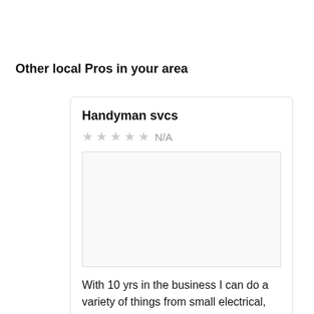Other local Pros in your area
Handyman svcs
N/A
[Figure (photo): Empty image placeholder box]
With 10 yrs in the business I can do a variety of things from small electrical, plumbing and repair jobs